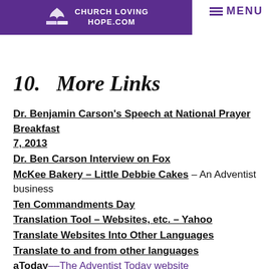CHURCH LOVING HOPE.COM — MENU
10.   More Links
Dr. Benjamin Carson's Speech at National Prayer B[reakfast] 7, 2013
Dr. Ben Carson Interview on Fox
McKee Bakery - Little Debbie Cakes – An Adventist business
Ten Commandments Day
Translation Tool - Websites, etc. - Yahoo
Translate Websites Into Other Languages
Translate to and from other languages
aToday--The Adventist Today website
AIR--an Adventist Internet Resources directory
Positive Life Radio
Adventist Connections
General Conference